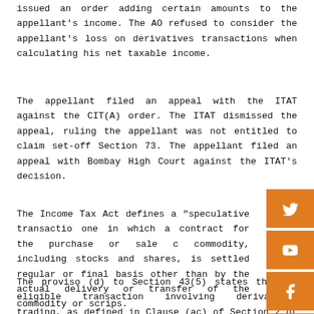issued an order adding certain amounts to the appellant's income. The AO refused to consider the appellant's loss on derivatives transactions when calculating his net taxable income.
The appellant filed an appeal with the ITAT against the CIT(A) order. The ITAT dismissed the appeal, ruling the appellant was not entitled to claim set-off Section 73. The appellant filed an appeal with Bombay High Court against the ITAT's decision.
The Income Tax Act defines a "speculative transaction" one in which a contract for the purchase or sale of a commodity, including stocks and shares, is settled on a regular or final basis other than by the actual delivery or transfer of the commodity or scrips.
The proviso (d) to Section 43(5) states that an eligible transaction involving derivatives trading, as defined in Clause (ac) of Section 2 of the Securities Contracts...